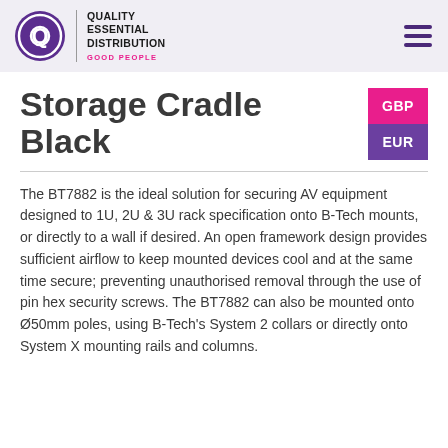Quality Essential Distribution — Good People
Storage Cradle Black
The BT7882 is the ideal solution for securing AV equipment designed to 1U, 2U & 3U rack specification onto B-Tech mounts, or directly to a wall if desired. An open framework design provides sufficient airflow to keep mounted devices cool and at the same time secure; preventing unauthorised removal through the use of pin hex security screws. The BT7882 can also be mounted onto Ø50mm poles, using B-Tech's System 2 collars or directly onto System X mounting rails and columns.